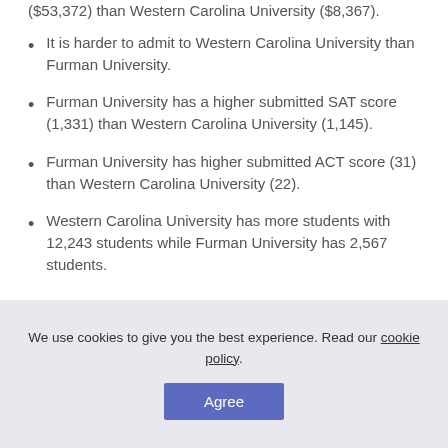($53,372) than Western Carolina University ($8,367).
It is harder to admit to Western Carolina University than Furman University.
Furman University has a higher submitted SAT score (1,331) than Western Carolina University (1,145).
Furman University has higher submitted ACT score (31) than Western Carolina University (22).
Western Carolina University has more students with 12,243 students while Furman University has 2,567 students.
We use cookies to give you the best experience. Read our cookie policy.